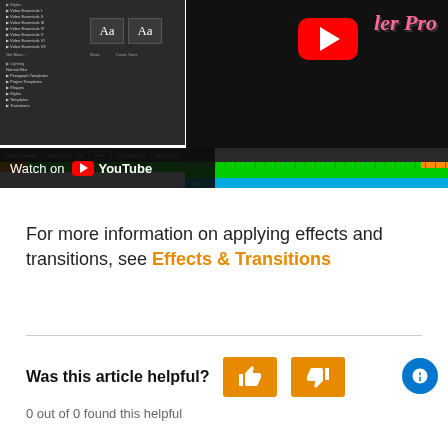[Figure (screenshot): Video editor software screenshot showing a sidebar with menu items, font preview boxes labeled 'Aa', timeline with orange/green bars, and a YouTube logo overlay with pink italic text 'Trailer Pro'. A 'Watch on YouTube' overlay is shown at the bottom left of the screenshot.]
For more information on applying effects and transitions, see Effects & Transitions
Was this article helpful?
0 out of 0 found this helpful